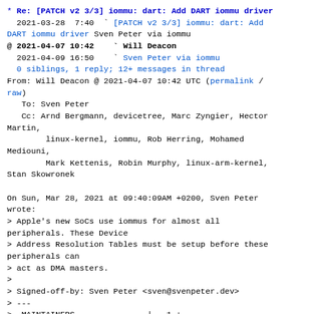* Re: [PATCH v2 3/3] iommu: dart: Add DART iommu driver
  2021-03-28  7:40  ` [PATCH v2 3/3] iommu: dart: Add DART iommu driver Sven Peter via iommu
@ 2021-04-07 10:42    ` Will Deacon
  2021-04-09 16:50    ` Sven Peter via iommu
  0 siblings, 1 reply; 12+ messages in thread
From: Will Deacon @ 2021-04-07 10:42 UTC (permalink / raw)
  To: Sven Peter
  Cc: Arnd Bergmann, devicetree, Marc Zyngier, Hector Martin,
        linux-kernel, iommu, Rob Herring, Mohamed Mediouni,
        Mark Kettenis, Robin Murphy, linux-arm-kernel,
Stan Skowronek

On Sun, Mar 28, 2021 at 09:40:09AM +0200, Sven Peter wrote:
> Apple's new SoCs use iommus for almost all peripherals. These Device
> Address Resolution Tables must be setup before these peripherals can
> act as DMA masters.
>
> Signed-off-by: Sven Peter <sven@svenpeter.dev>
> ---
>  MAINTAINERS               |  1 +
>  drivers/iommu/Kconfig     | 14 +
>  drivers/iommu/Makefile    |  1 +